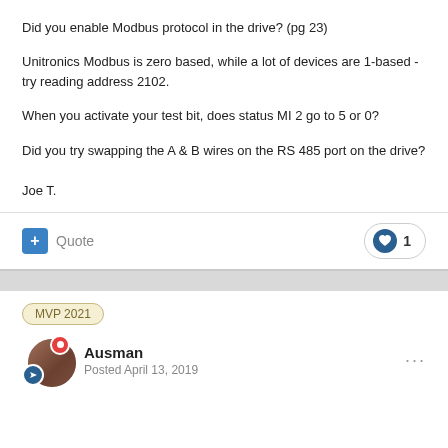Did you enable Modbus protocol in the drive?  (pg 23)
Unitronics Modbus is zero based, while a lot of devices are 1-based - try reading address 2102.
When you activate your test bit, does status MI 2 go to 5 or 0?
Did you try swapping the A & B wires on the RS 485 port on the drive?
Joe T.
Quote  ♥ 1
MVP 2021
Ausman
Posted April 13, 2019